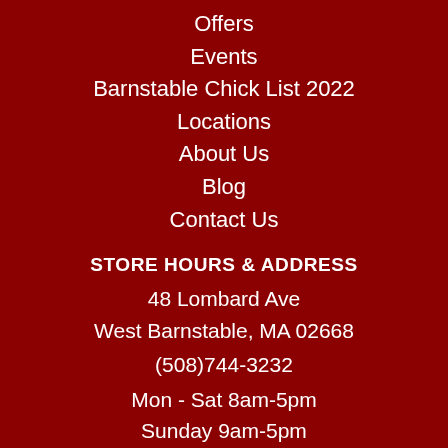Offers
Events
Barnstable Chick List 2022
Locations
About Us
Blog
Contact Us
STORE HOURS & ADDRESS
48 Lombard Ave
West Barnstable, MA 02668
(508)744-3232
Mon - Sat 8am-5pm
Sunday 9am-5pm
NEWSLETTER